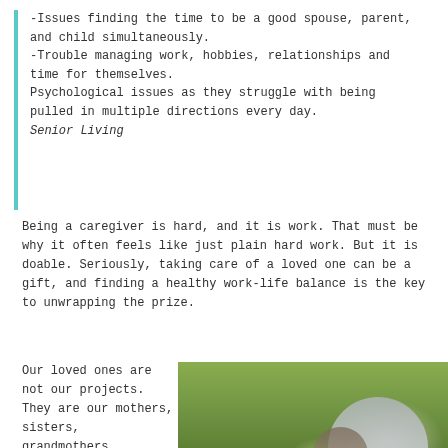-Issues finding the time to be a good spouse, parent, and child simultaneously.
-Trouble managing work, hobbies, relationships and time for themselves.
Psychological issues as they struggle with being pulled in multiple directions every day.
Senior Living
Being a caregiver is hard, and it is work. That must be why it often feels like just plain hard work. But it is doable. Seriously, taking care of a loved one can be a gift, and finding a healthy work-life balance is the key to unwrapping the prize.
Our loved ones are not our projects. They are our mothers, sisters, grandmothers,
[Figure (photo): Outdoor photo showing people walking together in a wooded area, viewed from behind. An elderly person in a light grey jacket has their arm around a younger person with long hair. Trees with spring foliage visible in background.]